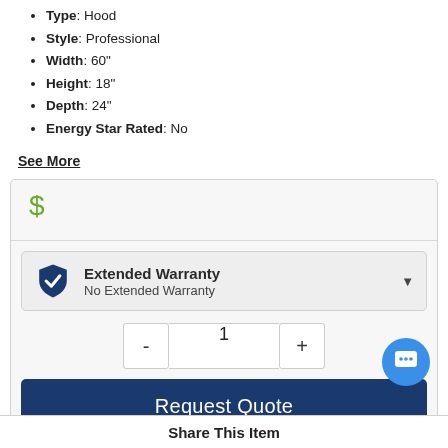Type: Hood
Style: Professional
Width: 60"
Height: 18"
Depth: 24"
Energy Star Rated: No
See More
$
Extended Warranty
No Extended Warranty
1
Request Quote
Share This Item